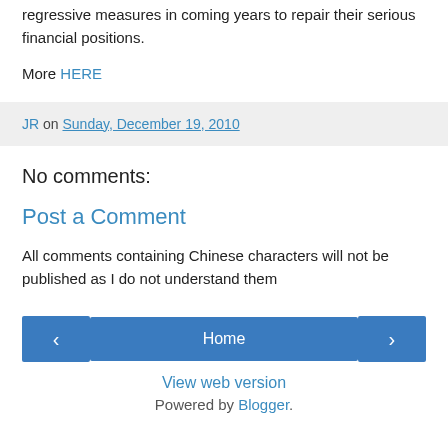most other OECD countries are likely to engage in regressive measures in coming years to repair their serious financial positions.
More HERE
JR on Sunday, December 19, 2010
No comments:
Post a Comment
All comments containing Chinese characters will not be published as I do not understand them
Home
View web version
Powered by Blogger.